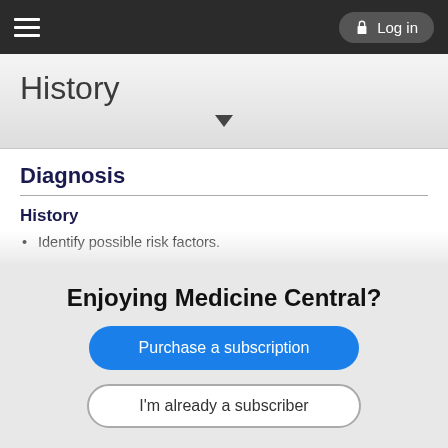History | Log in
History
Diagnosis
History
Identify possible risk factors.
Progressive and worsening stiffness of the GH joint
Majority will have diffuse shoulder pain, especially at the beginning of the disease.
On the late phase of the disease, stiffness becomes predominant.
Rule out other pain invoking conditions such as fractures
Enjoying Medicine Central?
Purchase a subscription
I'm already a subscriber